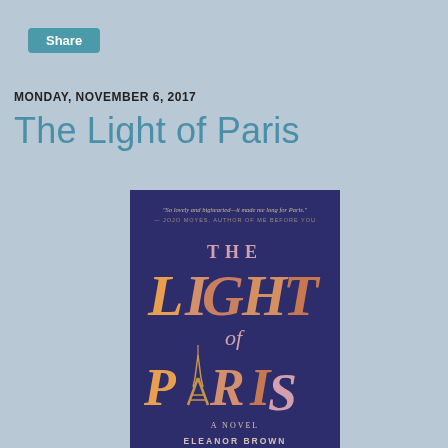Share
MONDAY, NOVEMBER 6, 2017
The Light of Paris
[Figure (illustration): Book cover of 'The Light of Paris' by Eleanor Brown. Dark navy/purple background with large golden/orange-pink gradient letters spelling 'THE LIGHT of PARIS'. The letter 'A' in PARIS is replaced by the Eiffel Tower illustration. At the top: quote 'So lovely and bighearted—it made me long for Paris.' — JOJO MOYES, AUTHOR OF ME BEFORE YOU. At the bottom: 'A NOVEL' and 'ELEANOR BROWN'.]